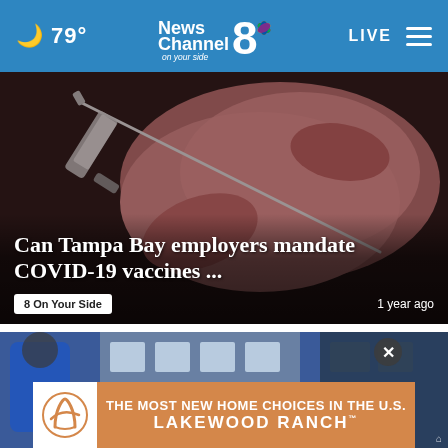🌙 79° — News Channel 8 on your side — LIVE
[Figure (photo): Close-up photo of a hand holding a medical syringe/needle against a dark background, related to COVID-19 vaccine story]
Can Tampa Bay employers mandate COVID-19 vaccines ...
8 On Your Side — 1 year ago
[Figure (photo): Partial view of a second news story image, cut off at the bottom of the page, showing a person in blue clothing near a building]
[Figure (other): Advertisement overlay: Lakewood Ranch — THE MOST NEW HOME CHOICES IN THE U.S. — LAKEWOOD RANCH with logo and close button]